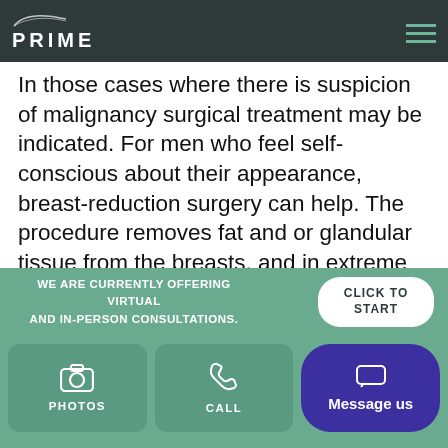PRIME
In those cases where there is suspicion of malignancy surgical treatment may be indicated. For men who feel self-conscious about their appearance, breast-reduction surgery can help. The procedure removes fat and or glandular tissue from the breasts, and in extreme cases removes excess skin, resulting in a chest that is flatter, firmer, and better contoured. In most cases, the incisions for this operation can be placed just inside the areolar border where they are less likely to be conspicuous. Gynecomastia is often best treated with partial
WE ARE CURRENTLY OFFERING VIRTUAL AND IN-PERSON CONSULTATIONS.
CLICK TO START
PHOTOS
CALL
Message us